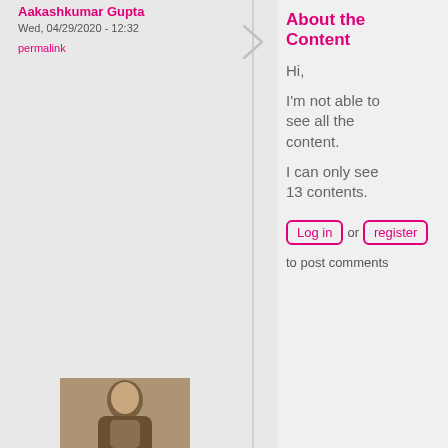Aakashkumar Gupta
Wed, 04/29/2020 - 12:32
permalink
About the Content
Hi,

I'm not able to see all the content.

I can only see 13 contents.
Log in or register to post comments
[Figure (photo): User avatar photo, partially cropped, showing a man]